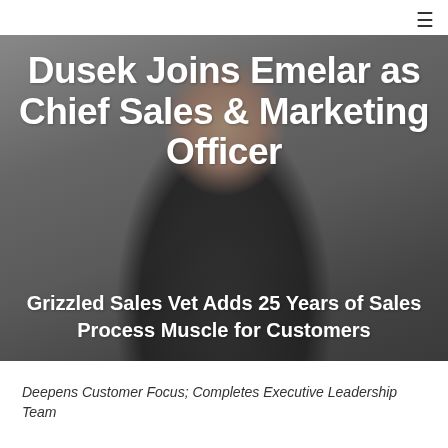[Figure (photo): Portrait photo of a man (Dusek) used as hero background image, showing face and upper body against a grey studio background]
Dusek Joins Emelar as Chief Sales & Marketing Officer
Grizzled Sales Vet Adds 25 Years of Sales Process Muscle for Customers
Deepens Customer Focus; Completes Executive Leadership Team